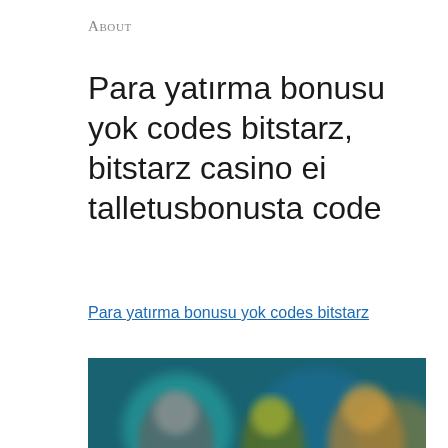About
Para yatırma bonusu yok codes bitstarz, bitstarz casino ei talletusbonusta code
Para yatırma bonusu yok codes bitstarz
[Figure (photo): Blurred screenshot of an online casino interface showing colorful characters and game elements on a dark background]